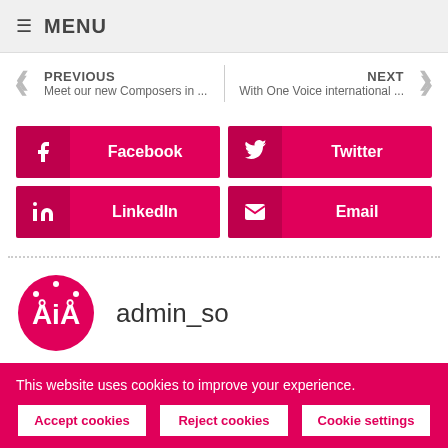≡ MENU
PREVIOUS
Meet our new Composers in ...
NEXT
With One Voice international ...
Facebook
Twitter
LinkedIn
Email
[Figure (logo): AAA logo inside a circle, white text on pink background]
admin_so
This website uses cookies to improve your experience.
Accept cookies
Reject cookies
Cookie settings